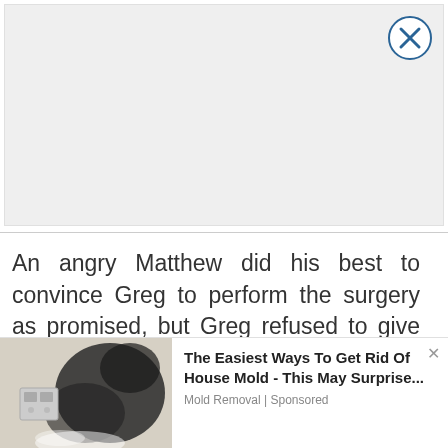[Figure (other): Gray advertisement banner placeholder with a circular close button (X) in the top right corner]
An angry Matthew did his best to convince Greg to perform the surgery as promised, but Greg refused to give in. He assured the teen that his mind was made up and he wouldn't do it. Sadly, Matthew told Destiny that he would probably be in his wheelchair forever.
[Figure (other): Bottom advertisement strip showing a photo of a wall with house mold (black mold growing near an electrical outlet) on the left, and ad text on the right reading 'The Easiest Ways To Get Rid Of House Mold - This May Surprise...' with 'Mold Removal | Sponsored' below]